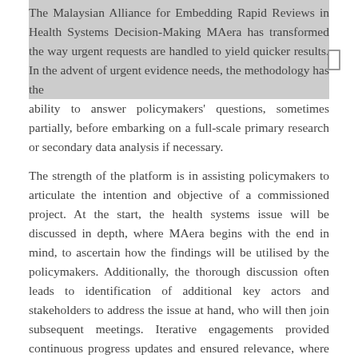The Malaysian Alliance for Embedding Rapid Reviews in Health Systems Decision-Making MAera has transformed the way urgent requests are handled to yield quicker results. In the advent of urgent evidence needs, the methodology has the ability to answer policymakers' questions, sometimes partially, before embarking on a full-scale primary research or secondary data analysis if necessary.
The strength of the platform is in assisting policymakers to articulate the intention and objective of a commissioned project. At the start, the health systems issue will be discussed in depth, where MAera begins with the end in mind, to ascertain how the findings will be utilised by the policymakers. Additionally, the thorough discussion often leads to identification of additional key actors and stakeholders to address the issue at hand, who will then join subsequent meetings. Iterative engagements provided continuous progress updates and ensured relevance, where we found that more engagements equated to higher ownership of findings. For each project, MAera identifies an anchor from the